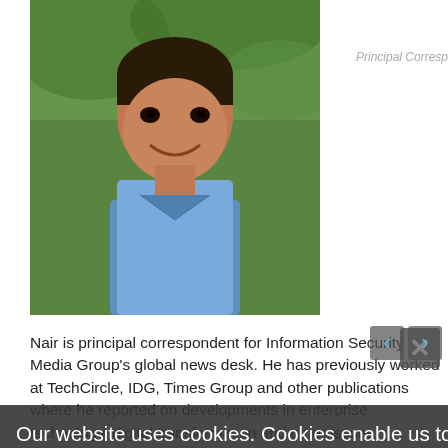[Figure (photo): Headshot of a man smiling, wearing a light blue shirt, green foliage background]
Principal Correspondent, ISMG
Nair is principal correspondent for Information Security Media Group's global news desk. He has previously worked at TechCircle, IDG, Times Group and other publications where he reported on developments in enterprise technology, digital transformation and other issues.
[Figure (infographic): Twitter and email social media icons]
You might also be interested in ...
Our website uses cookies. Cookies enable us to provide the best experience possible and help us understand how visitors use our website. By browsing bankinfosecurity.com, you agree to our use of cookies.
[Figure (photo): Thumbnail image on left side]
[Figure (photo): Thumbnail image on right side]